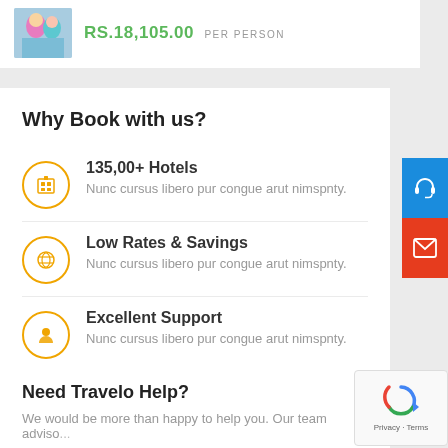RS.18,105.00 PER PERSON
Why Book with us?
135,00+ Hotels
Nunc cursus libero pur congue arut nimspnty.
Low Rates & Savings
Nunc cursus libero pur congue arut nimspnty.
Excellent Support
Nunc cursus libero pur congue arut nimspnty.
Need Travelo Help?
We would be more than happy to help you. Our team adviso...